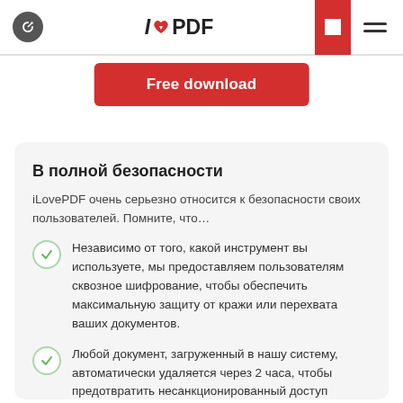I❤PDF
[Figure (other): Free download button — red rounded rectangle with white text]
В полной безопасности
iLovePDF очень серьезно относится к безопасности своих пользователей. Помните, что…
Независимо от того, какой инструмент вы используете, мы предоставляем пользователям сквозное шифрование, чтобы обеспечить максимальную защиту от кражи или перехвата ваших документов.
Любой документ, загруженный в нашу систему, автоматически удаляется через 2 часа, чтобы предотвратить несанкционированный доступ третьих лиц.